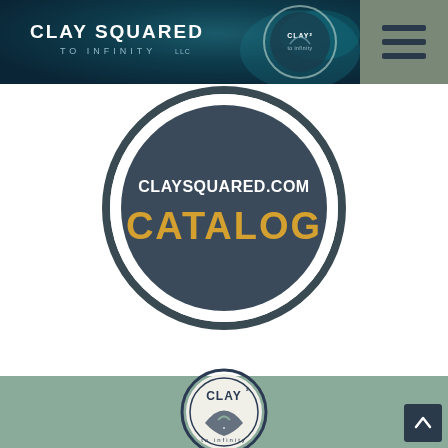[Figure (logo): Clay Squared to Infinity LLC website header banner with dark teal background, company logo text, circular clay logo, and hamburger menu icon on grey sidebar]
[Figure (logo): Circular dark grey catalog badge with white text 'CLAYSQUARED.COM' and gold/yellow bold text 'CATALOG' on white background]
[Figure (logo): Clay Squared to Infinity circular logo on sage green footer background with back-to-top arrow button]